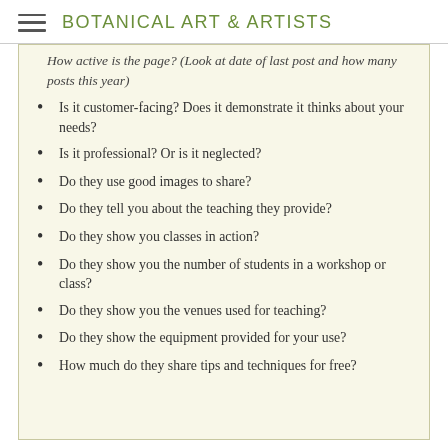BOTANICAL ART & ARTISTS
How active is the page? (Look at date of last post and how many posts this year)
Is it customer-facing? Does it demonstrate it thinks about your needs?
Is it professional? Or is it neglected?
Do they use good images to share?
Do they tell you about the teaching they provide?
Do they show you classes in action?
Do they show you the number of students in a workshop or class?
Do they show you the venues used for teaching?
Do they show the equipment provided for your use?
How much do they share tips and techniques for free?